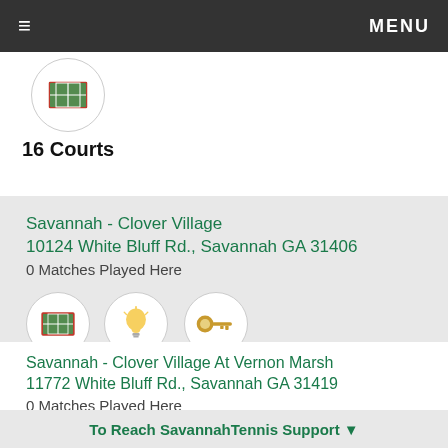≡  MENU
16 Courts
Savannah - Clover Village
10124 White Bluff Rd., Savannah GA 31406
0 Matches Played Here
1 Courts  Lighted  Restricted
Savannah - Clover Village At Vernon Marsh
11772 White Bluff Rd., Savannah GA 31419
0 Matches Played Here
To Reach SavannahTennis Support ▼